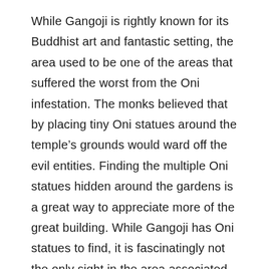While Gangoji is rightly known for its Buddhist art and fantastic setting, the area used to be one of the areas that suffered the worst from the Oni infestation. The monks believed that by placing tiny Oni statues around the temple's grounds would ward off the evil entities. Finding the multiple Oni statues hidden around the gardens is a great way to appreciate more of the great building. While Gangoji has Oni statues to find, it is fascinatingly not the only sight in the area associated with the mythical beasts. At nearby Shinyakushi temple, the beauty of the temple can make it easy to miss the giant bell in its corner. Closer inspection of the bell reveals deep scratches through the thick metal.

While the...